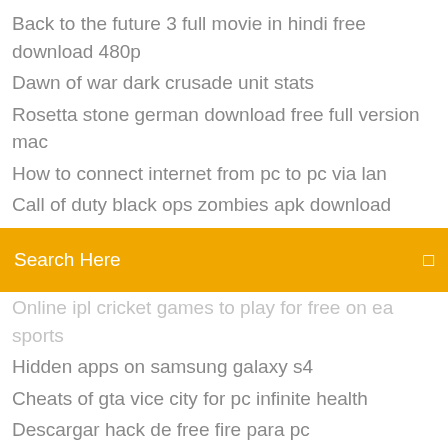Back to the future 3 full movie in hindi free download 480p
Dawn of war dark crusade unit stats
Rosetta stone german download free full version mac
How to connect internet from pc to pc via lan
Call of duty black ops zombies apk download
Best free video converter for windows xp
[Figure (screenshot): Orange search bar with text 'Search Here' and a small square icon on the right]
Online ipl cricket games to play for free on ea sports
Hidden apps on samsung galaxy s4
Cheats of gta vice city for pc infinite health
Descargar hack de free fire para pc
Free sites to download free mp3 music
Ati radeon hd 4800 drivers
How to create mailing labels in excel mac
Broadcom netxtreme gigabit ethernet windows 7 hp
Bajar gratis diccionario de sinonimos y antonimos en español
Video player apk download for android 2 3 6